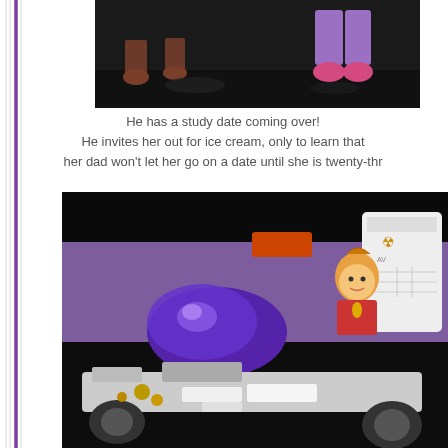[Figure (photo): Toy figures seen from below the waist — one with brown shoes and one with pink sneakers and purple pants, standing on a dark surface]
He has a study date coming over! He invites her out for ice cream, only to learn that her dad won't let her go on a date until she is twenty-thr
[Figure (photo): Jimmy Neutron toy and a purple glass/crystal object resembling a rocket or gadget, mounted on a wheeled vehicle with machinery parts, against a purple fabric background]